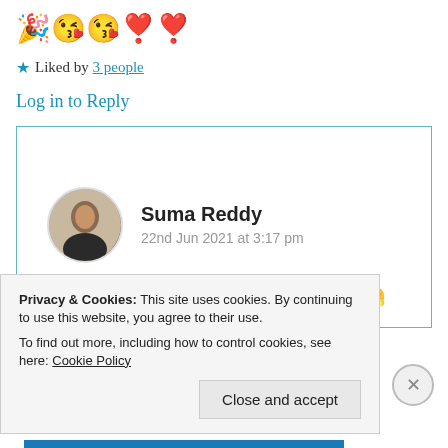🎉😘😘❣️❣️
★ Liked by 3 people
Log in to Reply
Suma Reddy
22nd Jun 2021 at 3:17 pm
Tons of thanks my dear Carla 😇❤️🤗
Privacy & Cookies: This site uses cookies. By continuing to use this website, you agree to their use.
To find out more, including how to control cookies, see here: Cookie Policy
Close and accept